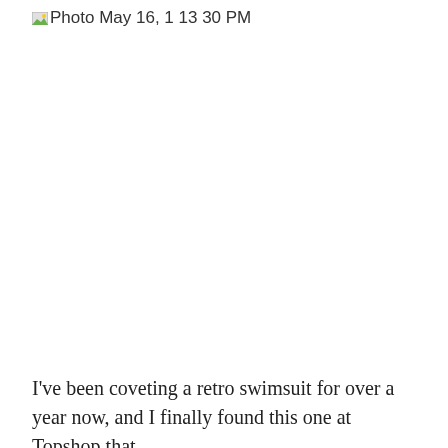[Figure (photo): Broken image placeholder with caption 'Photo May 16, 1 13 30 PM']
I've been coveting a retro swimsuit for over a year now, and I finally found this one at Topshop that